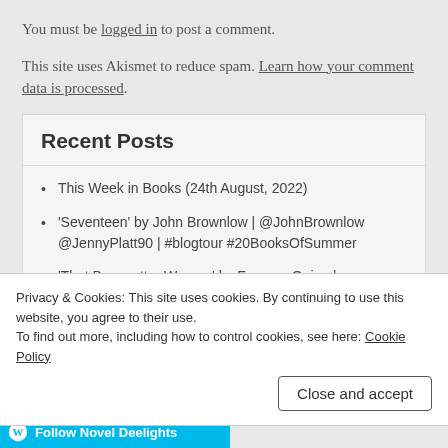You must be logged in to post a comment.
This site uses Akismet to reduce spam. Learn how your comment data is processed.
Recent Posts
This Week in Books (24th August, 2022)
'Seventeen' by John Brownlow | @JohnBrownlow @JennyPlatt90 | #blogtour #20BooksOfSummer
'That Bonesetter Woman' by Frances Quinn | @franquinn | #20BooksOfSummer
Privacy & Cookies: This site uses cookies. By continuing to use this website, you agree to their use.
To find out more, including how to control cookies, see here: Cookie Policy
Close and accept
Follow Novel Deelights